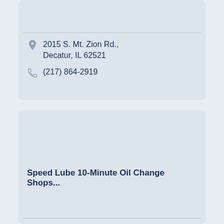2015 S. Mt. Zion Rd., Decatur, IL 62521
(217) 864-2919
Speed Lube 10-Minute Oil Change Shops...
924 E. Eldorado St